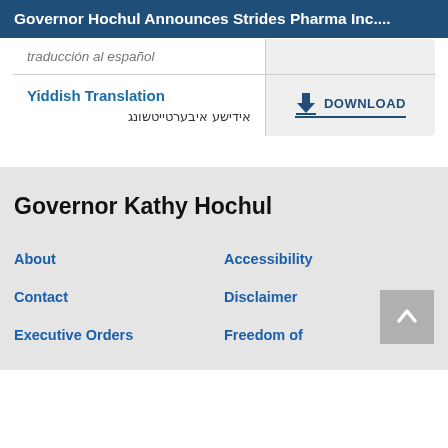Governor Hochul Announces Strides Pharma Inc....
| Language | Action |
| --- | --- |
| traducción al español |  |
| Yiddish Translation
אידישע איבערטייטשונג | DOWNLOAD |
Governor Kathy Hochul
About
Accessibility
Contact
Disclaimer
Executive Orders
Freedom of